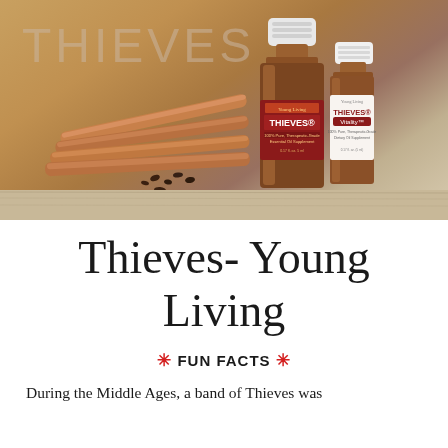[Figure (photo): Product photo showing two Young Living Thieves essential oil bottles (one larger 5ml and one smaller Vitality), with cinnamon sticks and cloves arranged in front, on a wooden surface. The word THIEVES appears as a faint watermark text in the upper left of the warm amber-toned background.]
Thieves- Young Living
🔥 FUN FACTS 🔥
During the Middle Ages, a band of Thieves was